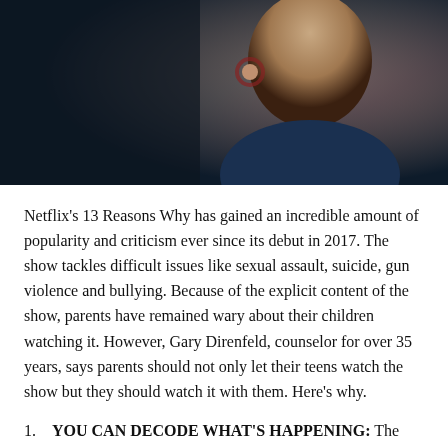[Figure (photo): Profile silhouette of a young person from behind/side, wearing headphones, against a dark blue-purple background]
Netflix’s 13 Reasons Why has gained an incredible amount of popularity and criticism ever since its debut in 2017. The show tackles difficult issues like sexual assault, suicide, gun violence and bullying. Because of the explicit content of the show, parents have remained wary about their children watching it. However, Gary Direnfeld, counselor for over 35 years, says parents should not only let their teens watch the show but they should watch it with them. Here’s why.
YOU CAN DECODE WHAT’S HAPPENING: The first reason to watch it together would be to help your teen decode some of what is happening on screen. “Sometimes watching